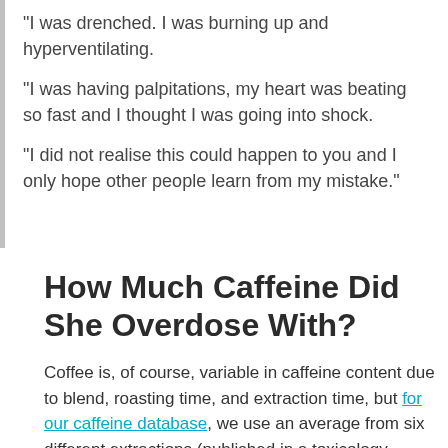“I was drenched. I was burning up and hyperventilating.

“I was having palpitations, my heart was beating so fast and I thought I was going into shock.

“I did not realise this could happen to you and I only hope other people learn from my mistake.”
How Much Caffeine Did She Overdose With?
Coffee is, of course, variable in caffeine content due to blend, roasting time, and extraction time, but for our caffeine database, we use an average from six different extractions (published in a toxicology journal).
Therefore, we list a value of 77mg caffeine per 1.5...